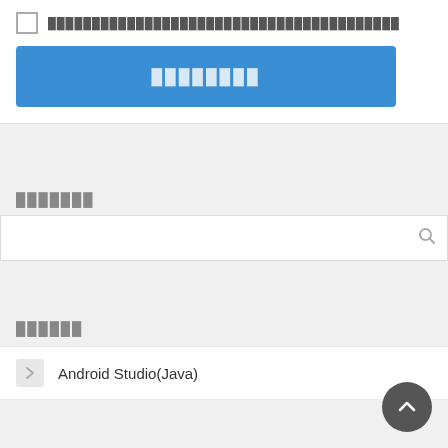□ ████████████████████████████████████████
████████
███████
[Search bar]
██████
Android Studio(Java)